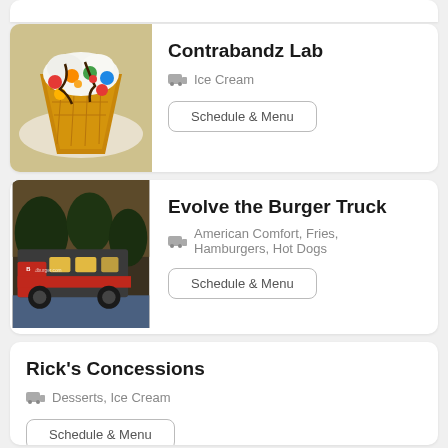[Figure (photo): Partial top of a food listing card, showing a cropped dark image at the top of the page.]
Contrabandz Lab
Ice Cream
Schedule & Menu
[Figure (photo): Photo of a large food truck — a red and dark-grey truck parked outdoors with trees visible in background.]
Evolve the Burger Truck
American Comfort, Fries, Hamburgers, Hot Dogs
Schedule & Menu
Rick's Concessions
Desserts, Ice Cream
Schedule & Menu